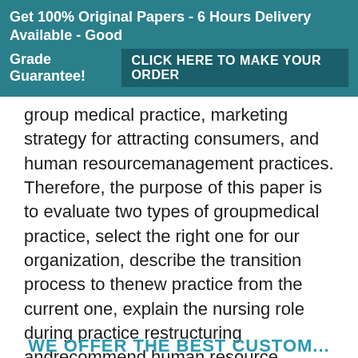Get 100% Original Papers - 6 Hours Delivery Available - Good Grade Guarantee! CLICK HERE TO MAKE YOUR ORDER
group medical practice, marketing strategy for attracting consumers, and human resourcemanagement practices. Therefore, the purpose of this paper is to evaluate two types of groupmedical practice, select the right one for our organization, describe the transition process to thenew practice from the current one, explain the nursing role during practice restructuring andrecommend human resource management and marketing strategies to achieve organizationalgoals.Two forms of Group Medical Prac...
WE OFFER THE BEST CUSTOM...